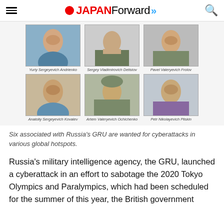JAPAN Forward
[Figure (photo): Six mugshot-style photos of individuals associated with Russia's GRU, arranged in a 2-row by 3-column grid. Top row: Yuriy Sergeyevich Andrienko, Sergey Vladimirovich Detistov, Pavel Valeryevich Frolov. Bottom row: Anatoliy Sergeyevich Kovalev, Artem Valeryevich Ochichenko, Petr Nikolayevich Pliskin.]
Six associated with Russia's GRU are wanted for cyberattacks in various global hotspots.
Russia's military intelligence agency, the GRU, launched a cyberattack in an effort to sabotage the 2020 Tokyo Olympics and Paralympics, which had been scheduled for the summer of this year, the British government